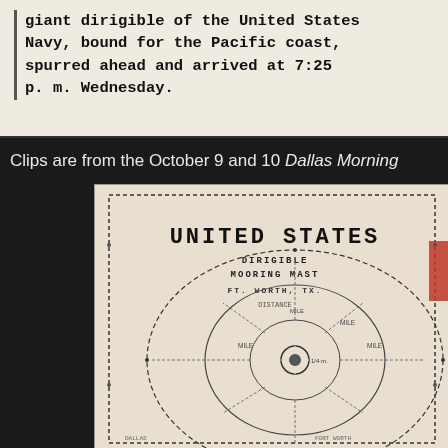[Figure (photo): Newspaper clipping showing text about a giant dirigible of the United States Navy, bound for the Pacific coast, spurred ahead and arrived at 7:25 p.m. Wednesday.]
Clips are from the October 9 and 10 Dallas Morning
[Figure (map): Scanned newspaper map showing a 'United States Dirigible Mooring Mast' diagram with concentric circles indicating distances, labeled with 'UNITED STATES' in large text and 'DIRIGIBLE MOORING MAST' below, with dashed outlines and circular distance rings.]